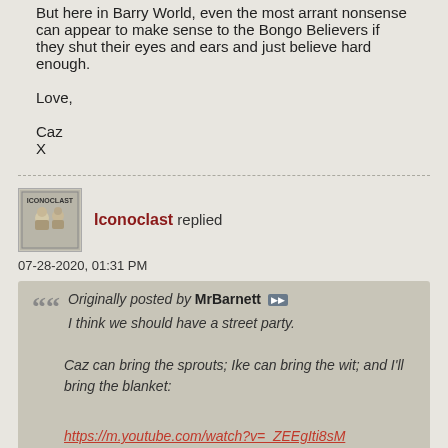But here in Barry World, even the most arrant nonsense can appear to make sense to the Bongo Believers if they shut their eyes and ears and just believe hard enough.
Love,

Caz
X
Iconoclast replied
07-28-2020, 01:31 PM
Originally posted by MrBarnett
I think we should have a street party.

Caz can bring the sprouts; Ike can bring the wit; and I'll bring the blanket:

https://m.youtube.com/watch?v=_ZEEgIti8sM

Oh, and we may need a bit of humble pie - just in case.
Now that's my kind of church!